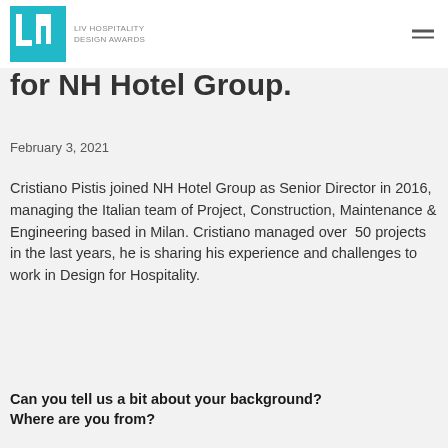LIV HOSPITALITY DESIGN AWARDS
for NH Hotel Group.
February 3, 2021
Cristiano Pistis joined NH Hotel Group as Senior Director in 2016, managing the Italian team of Project, Construction, Maintenance & Engineering based in Milan. Cristiano managed over 50 projects in the last years, he is sharing his experience and challenges to work in Design for Hospitality.
Can you tell us a bit about your background? Where are you from?